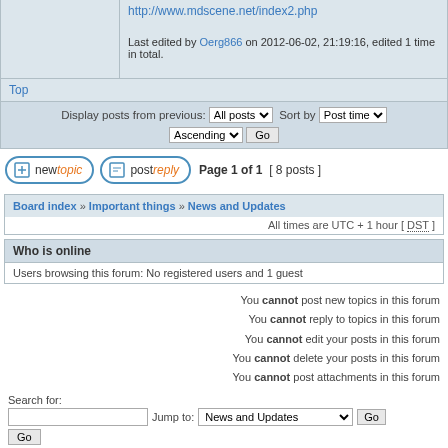http://www.mdscene.net/index2.php
Last edited by Oerg866 on 2012-06-02, 21:19:16, edited 1 time in total.
Top
Display posts from previous: All posts ▼  Sort by  Post time ▼  Ascending ▼  Go
new topic   post reply   Page 1 of 1  [ 8 posts ]
Board index » Important things » News and Updates
All times are UTC + 1 hour [ DST ]
Who is online
Users browsing this forum: No registered users and 1 guest
You cannot post new topics in this forum
You cannot reply to topics in this forum
You cannot edit your posts in this forum
You cannot delete your posts in this forum
You cannot post attachments in this forum
Search for:
Jump to: News and Updates  Go
Powered by phpBB® Forum Software © phpBB Group
[ Time : 0.019s | 17 Queries | GZIP : On ]